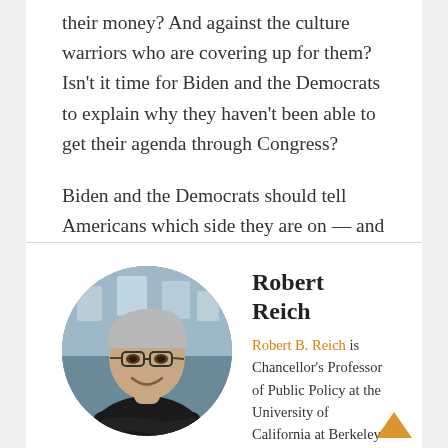their money? And against the culture warriors who are covering up for them? Isn't it time for Biden and the Democrats to explain why they haven't been able to get their agenda through Congress?
Biden and the Democrats should tell Americans which side they are on — and ask America to choose sides.
Robert Reich
[Figure (photo): Circular portrait photo of Robert Reich, a middle-aged white man with glasses wearing a black sweater, arms crossed, smiling]
Robert B. Reich is Chancellor's Professor of Public Policy at the University of California at Berkeley and Senior Fellow at the Blum Center for Developing Economies, and writes at robertreich.substack.com. Reich served as